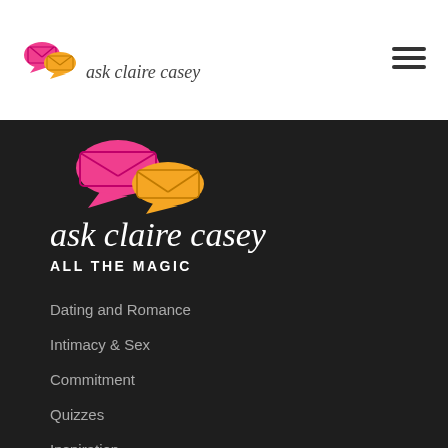[Figure (logo): Ask Claire Casey logo with two speech bubble envelopes (pink and orange) and cursive text 'ask claire casey' in small header]
[Figure (other): Hamburger menu icon (three horizontal bars) in top right corner]
[Figure (logo): Large Ask Claire Casey logo on dark background: two speech bubble envelopes (pink and orange) above cursive white text 'ask claire casey' and bold white ALL CAPS text 'ALL THE MAGIC']
Dating and Romance
Intimacy & Sex
Commitment
Quizzes
Inspiration
Breakups & Recovery
Cheating & Infidelity